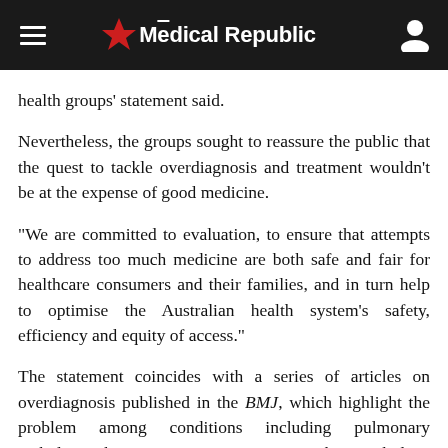The Medical Republic
health groups' statement said.
Nevertheless, the groups sought to reassure the public that the quest to tackle overdiagnosis and treatment wouldn't be at the expense of good medicine.
“We are committed to evaluation, to ensure that attempts to address too much medicine are both safe and fair for healthcare consumers and their families, and in turn help to optimise the Australian health system’s safety, efficiency and equity of access.”
The statement coincides with a series of articles on overdiagnosis published in the BMJ, which highlight the problem among conditions including pulmonary embolism, hypertension, osteoporosis, chronic kidney disease,